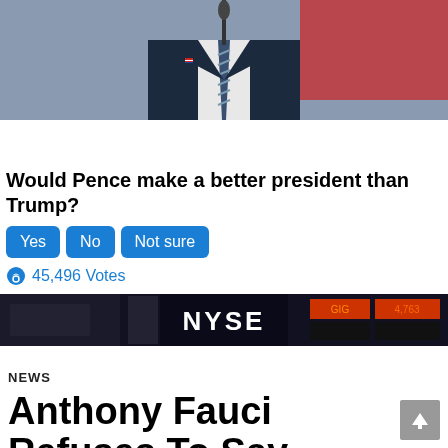[Figure (photo): Man in dark suit and striped tie standing at a microphone, with a red background. Cropped to show torso and lower face.]
Would Pence make a better president than Trump?
Yes  No  Not sure
45,496 Votes
[Figure (photo): NYSE trading floor banner/photo showing the NYSE logo in white text on dark background with trading screens.]
NEWS
Anthony Fauci Refuses To Say Whether Mass